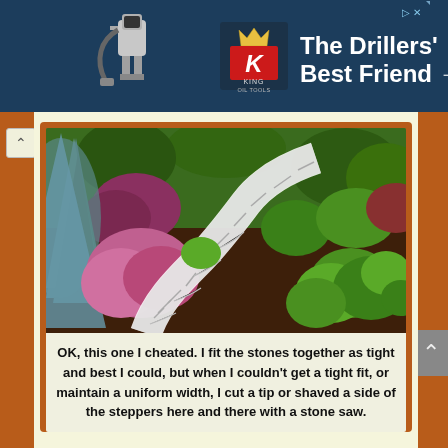[Figure (infographic): King Oil Tools advertisement banner with dark blue background, robot/drill figure on left, red K logo in center, and text 'The Drillers' Best Friend →' on right]
[Figure (photo): Garden landscape photo showing a winding white flagstone path through a mulched garden bed with various green shrubs, flowering plants, and a blue spruce tree on the left]
OK, this one I cheated. I fit the stones together as tight and best I could, but when I couldn't get a tight fit, or maintain a uniform width, I cut a tip or shaved a side of the steppers here and there with a stone saw.
Don Engebretson
The Renegade Gardener